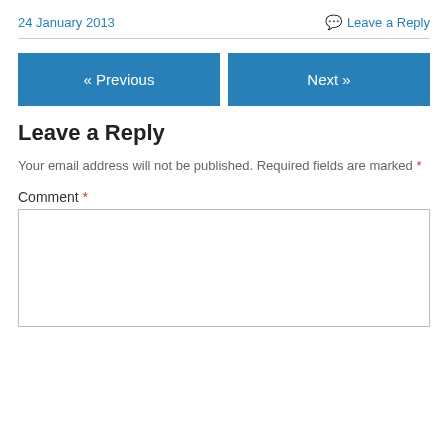24 January 2013
Leave a Reply
« Previous
Next »
Leave a Reply
Your email address will not be published. Required fields are marked *
Comment *